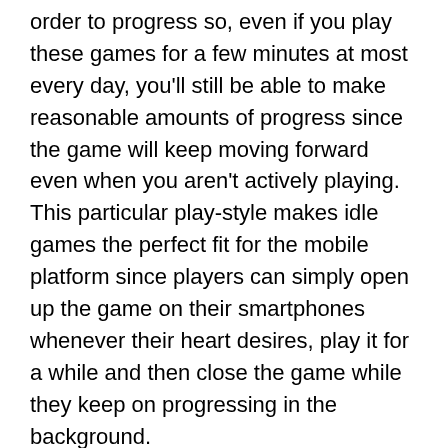order to progress so, even if you play these games for a few minutes at most every day, you'll still be able to make reasonable amounts of progress since the game will keep moving forward even when you aren't actively playing. This particular play-style makes idle games the perfect fit for the mobile platform since players can simply open up the game on their smartphones whenever their heart desires, play it for a while and then close the game while they keep on progressing in the background.
Another major reason why idle games are hugely popular among the mobile gamer audience is the fact that they don't have particularly complex controls and this leads to a pretty simplistic play-style that makes these games fairly easy to enjoy on phones. Most idling games don't require much player input other than a few simple taps from time to time and this makes the mobile platform the perfect place for these games as the tap based gameplay feels quite intuitive on phones and definitely wouldn't feel as enjoyable